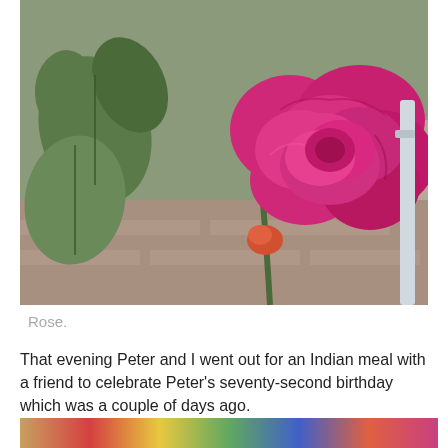[Figure (photo): Close-up photograph of a large deep pink/magenta rose in full bloom with green leaves visible, garden setting with brick pathway in background]
Rose.
That evening Peter and I went out for an Indian meal with a friend to celebrate Peter's seventy-second birthday which was a couple of days ago.
[Figure (photo): Partially visible colorful photo strip at the bottom of the page, appears to show multiple images]